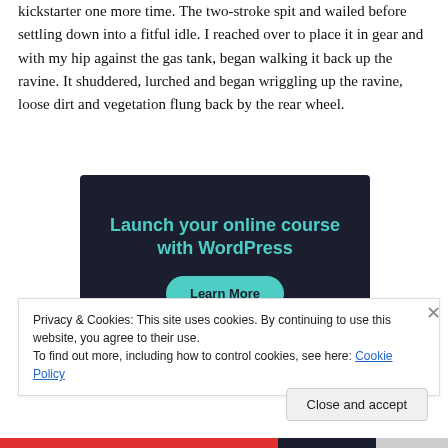kickstarter one more time. The two-stroke spit and wailed before settling down into a fitful idle. I reached over to place it in gear and with my hip against the gas tank, began walking it back up the ravine. It shuddered, lurched and began wriggling up the ravine, loose dirt and vegetation flung back by the rear wheel.
[Figure (infographic): Dark navy advertisement banner: 'Launch your online course with WordPress' in teal text, with a teal 'Learn More' rounded button below.]
Privacy & Cookies: This site uses cookies. By continuing to use this website, you agree to their use.
To find out more, including how to control cookies, see here: Cookie Policy
Close and accept